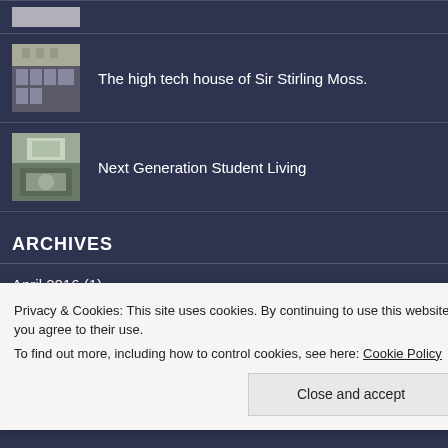[Figure (photo): Small thumbnail of a building exterior, partially visible at top]
The high tech house of Sir Stirling Moss.
[Figure (photo): Small thumbnail of an aerial/courtyard view]
Next Generation Student Living
ARCHIVES
April 2016 (1)
March 2016 (2)
January 2016 (1)
Privacy & Cookies: This site uses cookies. By continuing to use this website, you agree to their use.
To find out more, including how to control cookies, see here: Cookie Policy
Close and accept